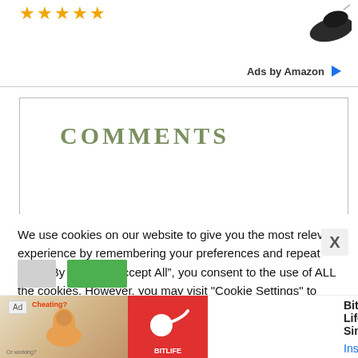[Figure (other): Star rating icons (gold stars) and a partial shoe product image in the top section, with 'Ads by Amazon' label and play button icon]
COMMENTS
Jamika Johnson says
We use cookies on our website to give you the most relevant experience by remembering your preferences and repeat visits. By clicking “Accept All”, you consent to the use of ALL the cookies. However, you may visit "Cookie Settings" to provide a controlled consent.
[Figure (screenshot): Ad banner for BitLife - Life Simulator app with orange/red background showing a muscular arm emoji and BitLife sperm logo icon, with 'Install!' link]